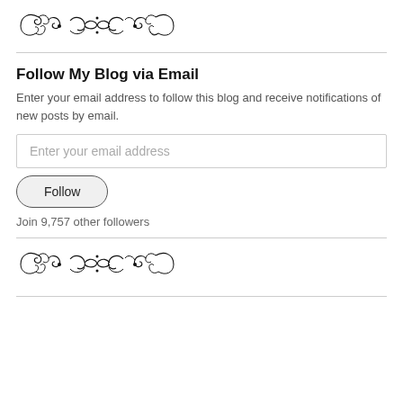[Figure (illustration): Decorative ornamental flourish divider, black swirling design]
Follow My Blog via Email
Enter your email address to follow this blog and receive notifications of new posts by email.
[Figure (other): Email address input field with placeholder text 'Enter your email address']
[Figure (other): Follow button, rounded rectangle]
Join 9,757 other followers
[Figure (illustration): Decorative ornamental flourish divider, black swirling design]